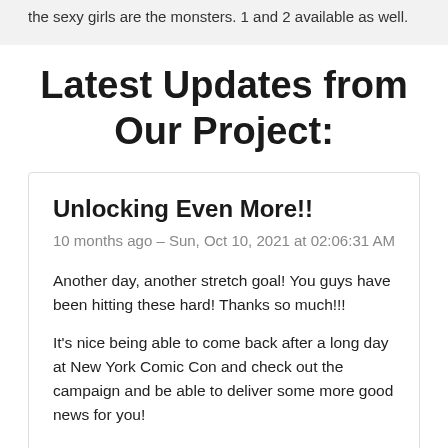the sexy girls are the monsters. 1 and 2 available as well.
Latest Updates from Our Project:
Unlocking Even More!!
10 months ago – Sun, Oct 10, 2021 at 02:06:31 AM
Another day, another stretch goal! You guys have been hitting these hard! Thanks so much!!!
It's nice being able to come back after a long day at New York Comic Con and check out the campaign and be able to deliver some more good news for you!